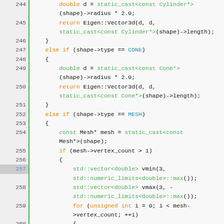[Figure (screenshot): Source code editor screenshot showing C++ code lines 244-270, with syntax highlighting. Keywords in orange, types/casts in green, constants in blue, normal code in dark.]